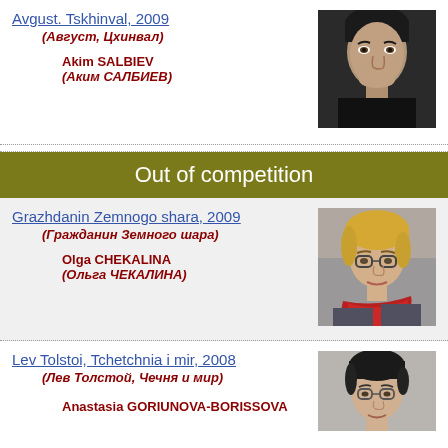Avgust. Tskhinval, 2009
(Август, Цхинвал)
Akim SALBIEV
(Аким САЛБИЕВ)
[Figure (photo): Black and white portrait photo of a man]
Out of competition
Grazhdanin Zemnogo shara, 2009
(Гражданин Земного шара)
Olga CHEKALINA
(Ольга ЧЕКАЛИНА)
[Figure (photo): Color photo of a woman with blonde hair and red scarf, wearing glasses]
Lev Tolstoi, Tchetchnia i mir, 2008
(Лев Толстой, Чечня и мир)
Anastasia GORIUNOVA-BORISSOVA